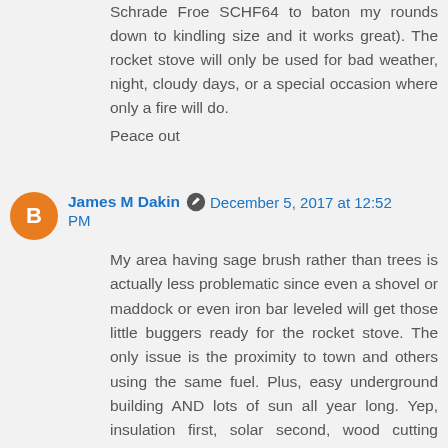Schrade Froe SCHF64 to baton my rounds down to kindling size and it works great). The rocket stove will only be used for bad weather, night, cloudy days, or a special occasion where only a fire will do.
Peace out
James M Dakin  December 5, 2017 at 12:52 PM
My area having sage brush rather than trees is actually less problematic since even a shovel or maddock or even iron bar leveled will get those little buggers ready for the rocket stove. The only issue is the proximity to town and others using the same fuel. Plus, easy underground building AND lots of sun all year long. Yep, insulation first, solar second, wood cutting distant third.
Dingo  December 5, 2017 at 7:24 PM
My part of Dingoland is hot & humid. However